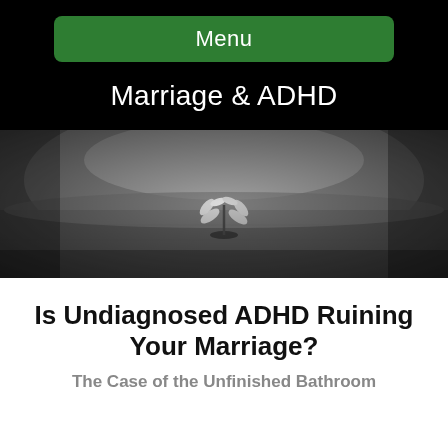Menu
Marriage & ADHD
[Figure (photo): Black and white photo of a small seedling plant growing from cracked asphalt ground, with blurred background]
Is Undiagnosed ADHD Ruining Your Marriage?
The Case of the Unfinished Bathroom